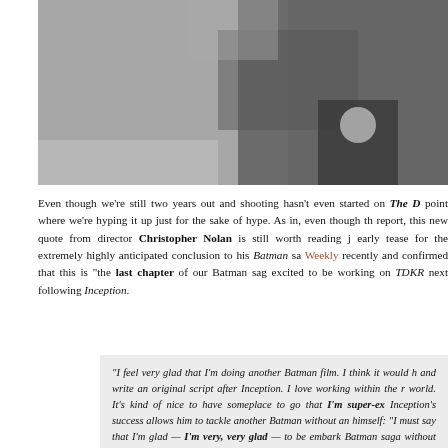[Figure (photo): Close-up photo of a man in a dark suit, partially visible, upper body and hands]
Even though we're still two years out and shooting hasn't even started on The D... point where we're hyping it up just for the sake of hype. As in, even though th... report, this new quote from director Christopher Nolan is still worth reading j... early tease for the extremely highly anticipated conclusion to his Batman sa... Weekly recently and confirmed that this is "the last chapter of our Batman sag... excited to be working on TDKR next following Inception.
"I feel very glad that I'm doing another Batman film. I think it would h... and write an original script after Inception. I love working within the r... world. It's kind of nice to have someplace to go that I'm super-ex... Inception's success allows him to tackle another Batman without an... himself: "I must say that I'm glad — I'm very, very glad — to be embark... Batman saga without any sense of obligation or duty to the studio. They... So I'm able to go into finishing our story in a very enthusiastic way."
The reason why I love this quote so much and wanted to feature it, is b... speculation that the third story won't live up to Batman Begins or The Dark Kn... next and maybe Chris Nolan is tired of dealing with Batman, which is why... Inception and so on. But that is - obviously - just not the case! As you can se...